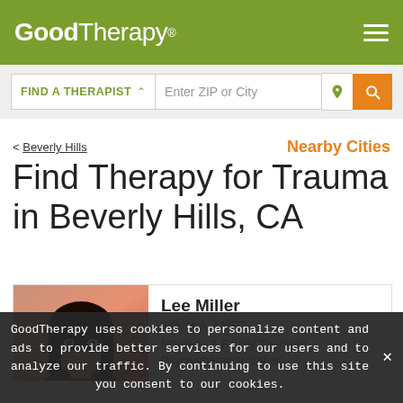GoodTherapy®
FIND A THERAPIST ∨  Enter ZIP or City 🔍
< Beverly Hills    Nearby Cities
Find Therapy for Trauma in Beverly Hills, CA
[Figure (photo): Profile photo of Lee Miller, a woman with dark hair smiling, against an orange background]
Lee Miller
J.D. M.A. LMFT
Marriage & Family Therapist, Psychotherapist, Other
GoodTherapy uses cookies to personalize content and ads to provide better services for our users and to analyze our traffic. By continuing to use this site you consent to our cookies.